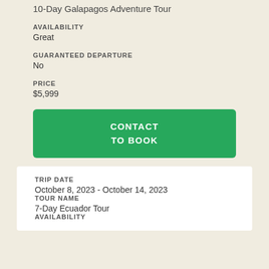10-Day Galapagos Adventure Tour
AVAILABILITY
Great
GUARANTEED DEPARTURE
No
PRICE
$5,999
CONTACT TO BOOK
TRIP DATE
October 8, 2023 - October 14, 2023
TOUR NAME
7-Day Ecuador Tour
AVAILABILITY